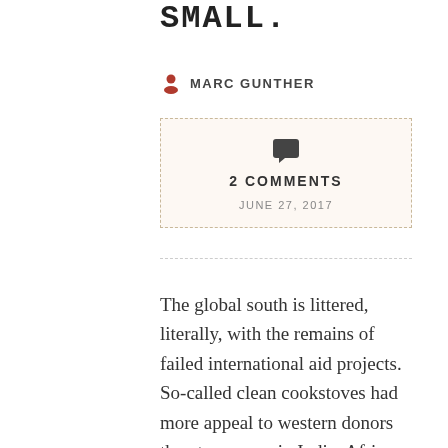SMALL.
MARC GUNTHER
2 COMMENTS
JUNE 27, 2017
The global south is littered, literally, with the remains of failed international aid projects. So-called clean cookstoves had more appeal to western donors than to women in India, Africa or Latin America. Wells and taps that were intended to